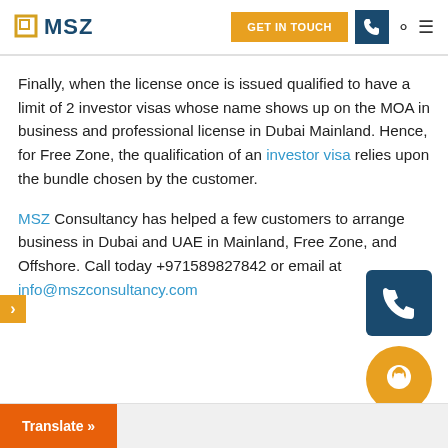MSZ | GET IN TOUCH
Finally, when the license once is issued qualified to have a limit of 2 investor visas whose name shows up on the MOA in business and professional license in Dubai Mainland. Hence, for Free Zone, the qualification of an investor visa relies upon the bundle chosen by the customer.
MSZ Consultancy has helped a few customers to arrange business in Dubai and UAE in Mainland, Free Zone, and Offshore. Call today +971589827842 or email at info@mszconsultancy.com